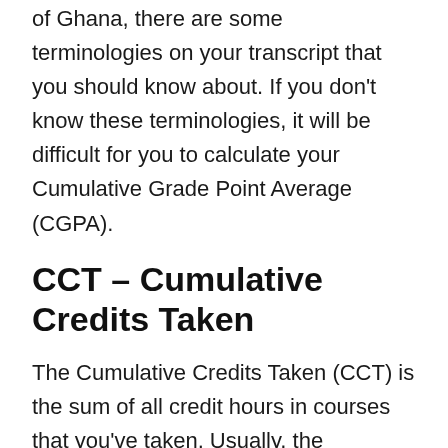of Ghana, there are some terminologies on your transcript that you should know about. If you don't know these terminologies, it will be difficult for you to calculate your Cumulative Grade Point Average (CGPA).
CCT – Cumulative Credits Taken
The Cumulative Credits Taken (CCT) is the sum of all credit hours in courses that you've taken. Usually, the Cumulative Credits Taken (CCT) is based not on the course titles but the course code, and it is calculated once.